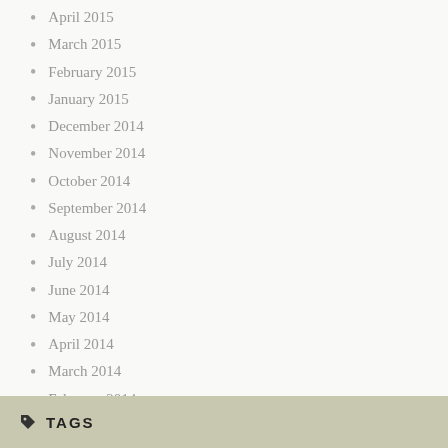April 2015
March 2015
February 2015
January 2015
December 2014
November 2014
October 2014
September 2014
August 2014
July 2014
June 2014
May 2014
April 2014
March 2014
February 2014
January 2014
December 2013
TAGS